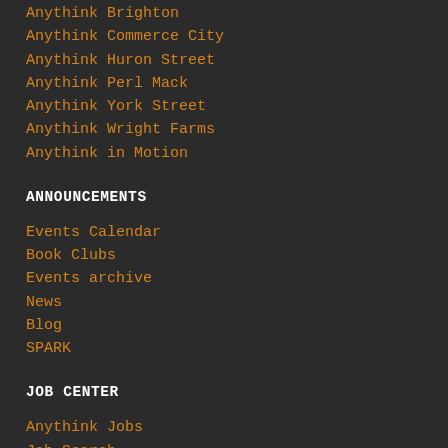Anythink Brighton
Anythink Commerce City
Anythink Huron Street
Anythink Perl Mack
Anythink York Street
Anythink Wright Farms
Anythink in Motion
ANNOUNCEMENTS
Events Calendar
Book Clubs
Events archive
News
Blog
SPARK
JOB CENTER
Anythink Jobs
Job Search